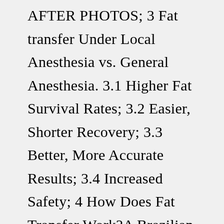AFTER PHOTOS; 3 Fat transfer Under Local Anesthesia vs. General Anesthesia. 3.1 Higher Fat Survival Rates; 3.2 Easier, Shorter Recovery; 3.3 Better, More Accurate Results; 3.4 Increased Safety; 4 How Does Fat Transfer Work?A Brazilian butt lift is considered an outpatient procedure and is performed under general anesthesia at a local hospital. Using Dr. Markman's method, the entire surgery typically takes about 6 hours to complete